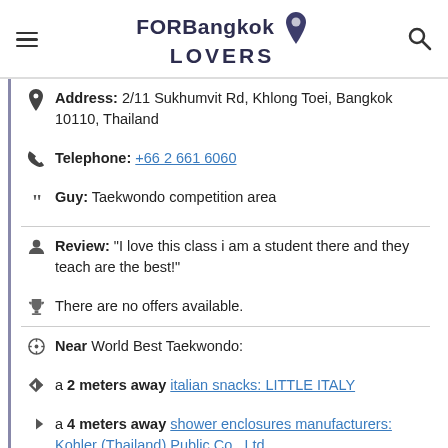FORBangkok LOVERS
Address: 2/11 Sukhumvit Rd, Khlong Toei, Bangkok 10110, Thailand
Telephone: +66 2 661 6060
Guy: Taekwondo competition area
Review: "I love this class i am a student there and they teach are the best!"
There are no offers available.
Near World Best Taekwondo:
a 2 meters away italian snacks: LITTLE ITALY
a 4 meters away shower enclosures manufacturers: Kohler (Thailand) Public Co., Ltd.
a 5 meters away sushi restaurants take away: